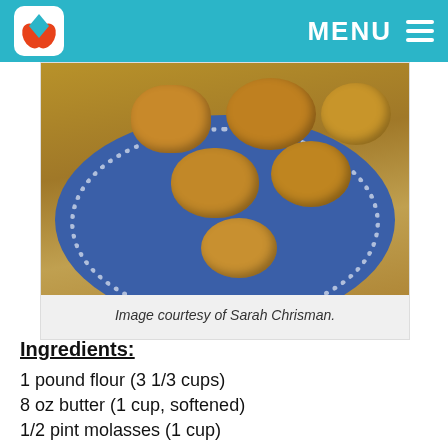MENU
[Figure (photo): Photo of golden-brown cookies on a blue decorative plate on a wooden surface]
Image courtesy of Sarah Chrisman.
Ingredients:
1 pound flour (3 1/3 cups)
8 oz butter (1 cup, softened)
1/2 pint molasses (1 cup)
1 Tbsp (baking) soda, beaten very hard in the molasses
1 Tbsp coriander seed, pounded in a mortar (crushing whole seeds retains more flavor)